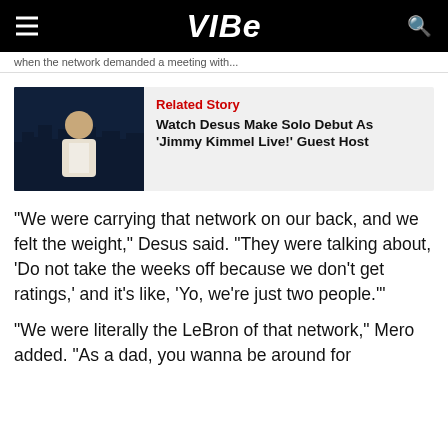VIBE
when the network demanded a meeting with...
[Figure (screenshot): Man in white jacket on stage with city skyline background (Desus)]
Related Story
Watch Desus Make Solo Debut As 'Jimmy Kimmel Live!' Guest Host
“We were carrying that network on our back, and we felt the weight,” Desus said. “They were talking about, ‘Do not take the weeks off because we don’t get ratings,’ and it’s like, ‘Yo, we’re just two people.’”
“We were literally the LeBron of that network,” Mero added. “As a dad, you wanna be around for